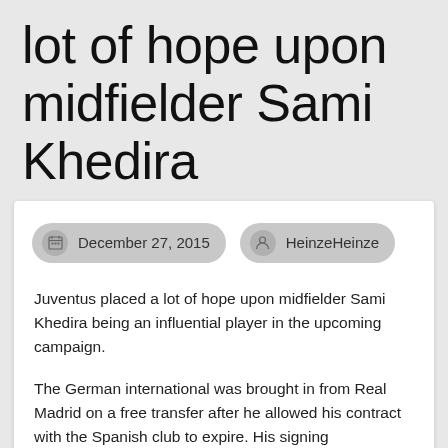lot of hope upon midfielder Sami Khedira
December 27, 2015
HeinzeHeinze
Juventus placed a lot of hope upon midfielder Sami Khedira being an influential player in the upcoming campaign.
The German international was brought in from Real Madrid on a free transfer after he allowed his contract with the Spanish club to expire. His signing convincingly, Juventus to allow Vidal to join